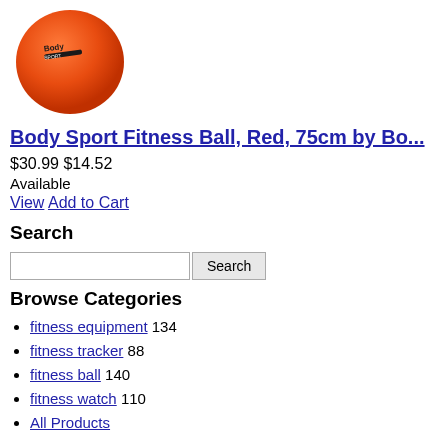[Figure (photo): Orange/red fitness exercise ball with 'Body Sport' text logo visible on top]
Body Sport Fitness Ball, Red, 75cm by Bo...
$30.99 $14.52
Available
View Add to Cart
Search
[search input box] [Search button]
Browse Categories
fitness equipment 134
fitness tracker 88
fitness ball 140
fitness watch 110
All Products